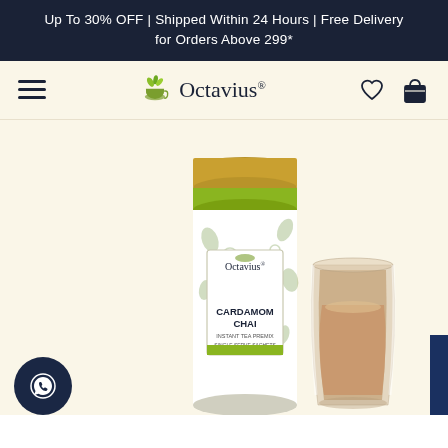Up To 30% OFF | Shipped Within 24 Hours | Free Delivery for Orders Above 299*
[Figure (logo): Octavius tea brand logo with leaf and cup icon, navigation bar with hamburger menu, heart icon, and shopping bag icon]
[Figure (photo): Octavius Cardamom Chai Instant Tea Premix cylindrical tin canister with gold lid and botanical design, next to a double-wall glass of milky chai tea]